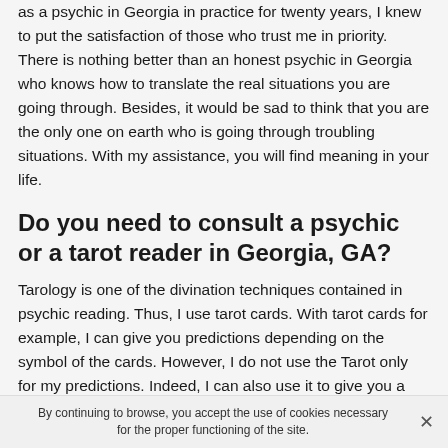as a psychic in Georgia in practice for twenty years, I knew to put the satisfaction of those who trust me in priority. There is nothing better than an honest psychic in Georgia who knows how to translate the real situations you are going through. Besides, it would be sad to think that you are the only one on earth who is going through troubling situations. With my assistance, you will find meaning in your life.
Do you need to consult a psychic or a tarot reader in Georgia, GA?
Tarology is one of the divination techniques contained in psychic reading. Thus, I use tarot cards. With tarot cards for example, I can give you predictions depending on the symbol of the cards. However, I do not use the Tarot only for my predictions. Indeed, I can also use it to give you a
By continuing to browse, you accept the use of cookies necessary for the proper functioning of the site.